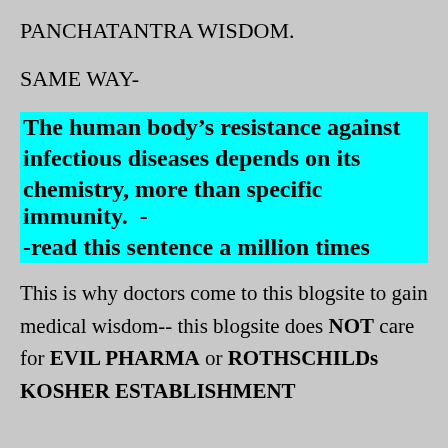PANCHATANTRA WISDOM.
SAME WAY-
The human body’s resistance against infectious diseases depends on its chemistry, more than specific immunity.  --read this sentence a million times
This is why doctors come to this blogsite to gain medical wisdom-- this blogsite does NOT care for EVIL PHARMA or ROTHSCHILDs KOSHER ESTABLISHMENT